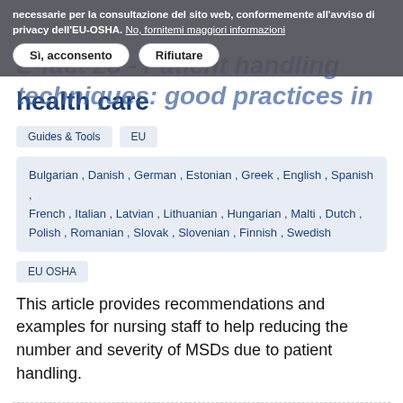necessarie per la consultazione del sito web, conformemente all'avviso di privacy dell'EU-OSHA. No, fornitemi maggiori informazioni
Sì, acconsento   Rifiutare
E-fact 28 - Patient handling techniques: good practices in health care
Guides & Tools   EU
Bulgarian , Danish , German , Estonian , Greek , English , Spanish , French , Italian , Latvian , Lithuanian , Hungarian , Malti , Dutch , Polish , Romanian , Slovak , Slovenian , Finnish , Swedish
EU OSHA
This article provides recommendations and examples for nursing staff to help reducing the number and severity of MSDs due to patient handling.
Vedi altro →